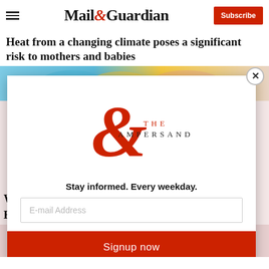Mail&Guardian — Subscribe
Heat from a changing climate poses a significant risk to mothers and babies
[Figure (screenshot): Partial article page with colorful image strip visible behind a newsletter subscription modal popup]
Stay informed. Every weekday.
E-mail Address
Signup now